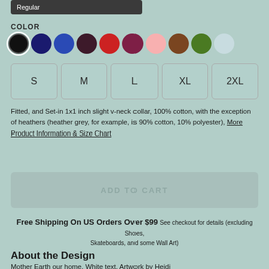Regular
COLOR
[Figure (infographic): Color swatches: black (selected), navy, blue, dark purple, red, maroon, pink, brown, green, light blue]
S
M
L
XL
2XL
Fitted, and Set-in 1x1 inch slight v-neck collar, 100% cotton, with the exception of heathers (heather grey, for example, is 90% cotton, 10% polyester), More Product Information & Size Chart
ADD TO CART
Free Shipping On US Orders Over $99 See checkout for details (excluding Shoes, Skateboards, and some Wall Art)
About the Design
Mother Earth our home. White text. Artwork by Heidi